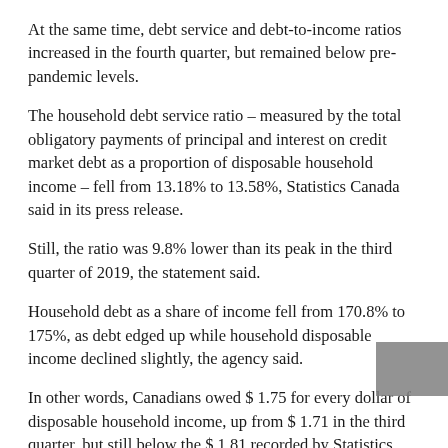At the same time, debt service and debt-to-income ratios increased in the fourth quarter, but remained below pre-pandemic levels.
The household debt service ratio – measured by the total obligatory payments of principal and interest on credit market debt as a proportion of disposable household income – fell from 13.18% to 13.58%, Statistics Canada said in its press release.
Still, the ratio was 9.8% lower than its peak in the third quarter of 2019, the statement said.
Household debt as a share of income fell from 170.8% to 175%, as debt edged up while household disposable income declined slightly, the agency said.
In other words, Canadians owed $ 1.75 for every dollar of disposable household income, up from $ 1.71 in the third quarter, but still below the $ 1.81 recorded by Statistics Canada in the last quarter, end of 2019.